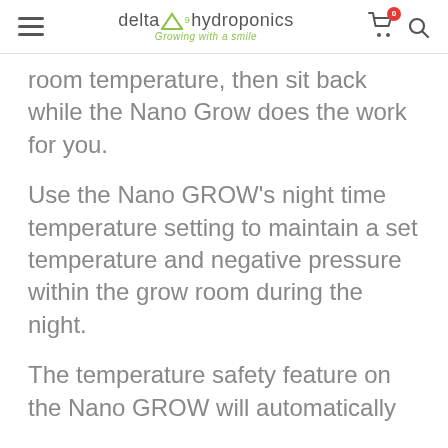delta hydroponics — Growing with a smile
room temperature, then sit back while the Nano Grow does the work for you.
Use the Nano GROW's night time temperature setting to maintain a set temperature and negative pressure within the grow room during the night.
The temperature safety feature on the Nano GROW will automatically